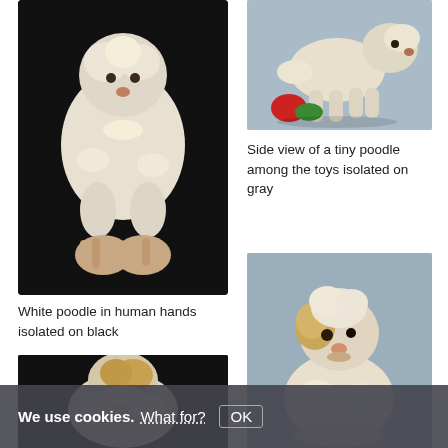[Figure (photo): White fluffy poodle puppy being held in human hands against a black background, facing the viewer]
White poodle in human hands isolated on black
[Figure (photo): Side view of a tiny white poodle puppy standing among colorful toys (red and green) isolated on a gray background]
Side view of a tiny poodle among the toys isolated on gray
[Figure (photo): White poodle puppy looking upward, seated, against a gray background]
[Figure (photo): Back view of a white/golden poodle puppy on a dark background]
We use cookies. What for? OK